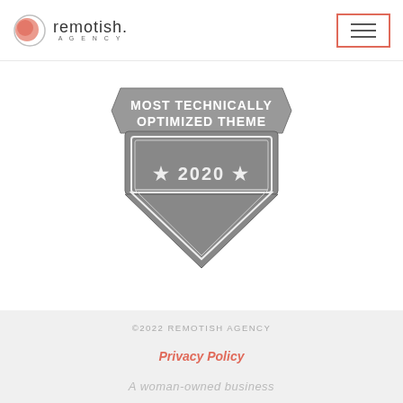[Figure (logo): Remotish Agency logo with circular salmon/coral icon and text 'remotish. AGENCY']
[Figure (illustration): Award badge shield graphic reading 'MOST TECHNICALLY OPTIMIZED THEME' with '★ 2020 ★' in gray tones]
©2022 REMOTISH AGENCY
Privacy Policy
A woman-owned business